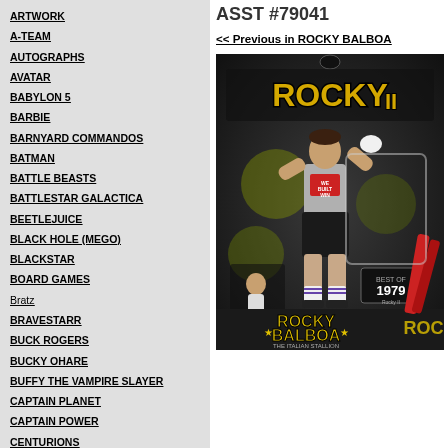ARTWORK
A-TEAM
AUTOGRAPHS
AVATAR
BABYLON 5
BARBIE
BARNYARD COMMANDOS
BATMAN
BATTLE BEASTS
BATTLESTAR GALACTICA
BEETLEJUICE
BLACK HOLE (MEGO)
BLACKSTAR
BOARD GAMES
Bratz
BRAVESTARR
BUCK ROGERS
BUCKY OHARE
BUFFY THE VAMPIRE SLAYER
CAPTAIN PLANET
CAPTAIN POWER
CENTURIONS
CHUCK NORRIS KARATE KOMMANDOS
CLASH OF THE TITANS
ASST #79041
<< Previous in ROCKY BALBOA
[Figure (photo): Rocky II action figure in packaging - Rocky Balboa The Italian Stallion figure in black and white outfit, 1979, in dark themed blister card packaging]